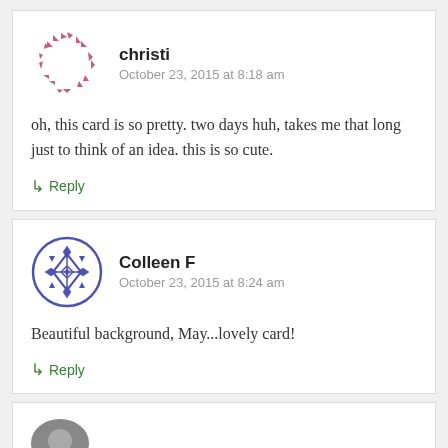[Figure (illustration): Avatar icon for commenter christi, decorative pink/mauve dashed circular arrow pattern]
christi
October 23, 2015 at 8:18 am
oh, this card is so pretty. two days huh, takes me that long just to think of an idea. this is so cute.
↳ Reply
[Figure (illustration): Avatar icon for commenter Colleen F, decorative blue geometric/diamond quilted pattern]
Colleen F
October 23, 2015 at 8:24 am
Beautiful background, May...lovely card!
↳ Reply